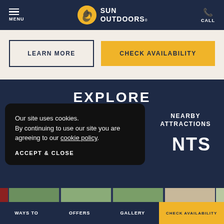MENU | SUN OUTDOORS | CALL
LEARN MORE
CHECK AVAILABILITY
EXPLORE
NEARBY ATTRACTIONS
NTS
Our site uses cookies. By continuing to use our site you are agreeing to our cookie policy.
ACCEPT & CLOSE
[Figure (screenshot): Blurred image row of outdoor nature scenes]
WAYS TO | OFFERS | GALLERY | CHECK AVAILABILITY